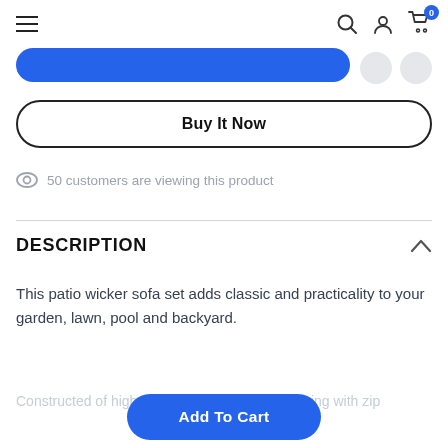Navigation bar with hamburger menu, search, user, and cart icons (0 items)
[Figure (screenshot): Partial blue rounded button (Add To Cart) at top, with two grey circles at top right]
Buy It Now
50 customers are viewing this product
DESCRIPTION
This patio wicker sofa set adds classic and practicality to your garden, lawn, pool and backyard.
Constructed of high-density foam cushions coming with zip...
Add To Cart